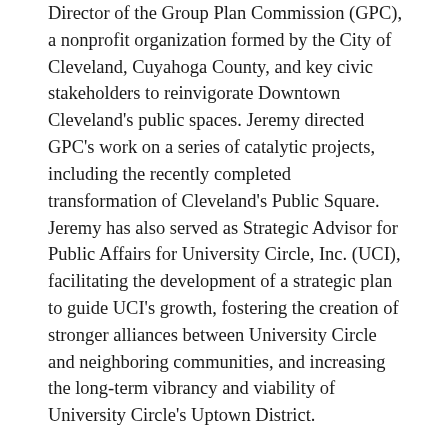Director of the Group Plan Commission (GPC), a nonprofit organization formed by the City of Cleveland, Cuyahoga County, and key civic stakeholders to reinvigorate Downtown Cleveland's public spaces. Jeremy directed GPC's work on a series of catalytic projects, including the recently completed transformation of Cleveland's Public Square.  Jeremy has also served as Strategic Advisor for Public Affairs for University Circle, Inc. (UCI), facilitating the development of a strategic plan to guide UCI's growth, fostering the creation of stronger alliances between University Circle and neighboring communities, and increasing the long-term vibrancy and viability of University Circle's Uptown District.
While raising his young family in the Cleveland area, Jeremy has continued to focus on efforts to grow and strengthen community in Northeast Ohio, serving on numerous boards, including the Mt. Sinai Health Care Foundation, the Shaker Heights Development Corporation, the Jewish Federation of Cleveland, and the NE Ohio Chapter of the American Planning Association.